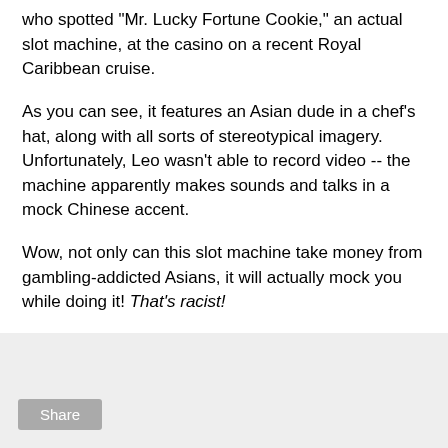who spotted "Mr. Lucky Fortune Cookie," an actual slot machine, at the casino on a recent Royal Caribbean cruise.
As you can see, it features an Asian dude in a chef's hat, along with all sorts of stereotypical imagery. Unfortunately, Leo wasn't able to record video -- the machine apparently makes sounds and talks in a mock Chinese accent.
Wow, not only can this slot machine take money from gambling-addicted Asians, it will actually mock you while doing it! That's racist!
[Figure (other): Share button widget area with gray background]
"TOO TALL" CHINESE BASKETBALL PLAYER SPARKS FAN RIOT